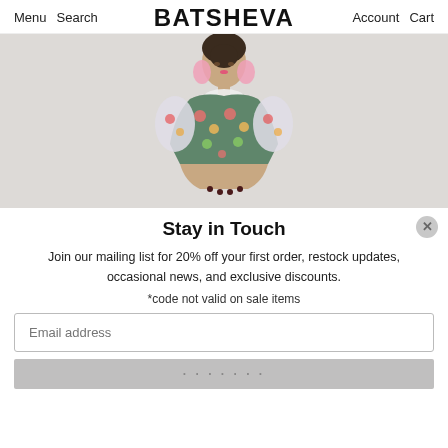Menu  Search  BATSHEVA  Account  Cart
[Figure (photo): Fashion model with dark hair pulled back, wearing large pink hoop earrings and a floral patterned top with puffed sleeves, arms crossed, on a light grey background.]
Stay in Touch
Join our mailing list for 20% off your first order, restock updates, occasional news, and exclusive discounts.
*code not valid on sale items
Email address